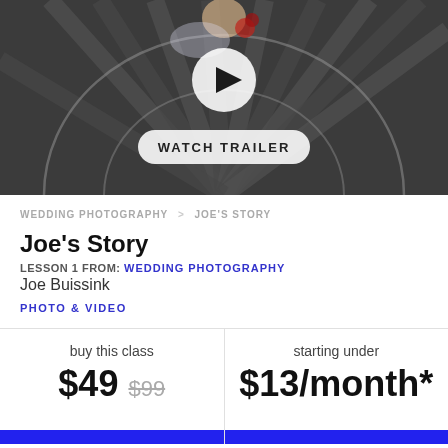[Figure (photo): Hero image showing a spiral wooden structure with a play button overlay and 'WATCH TRAILER' button. Dark wooden slats arranged in a radial/spiral pattern with a bride visible at top holding red flowers.]
WEDDING PHOTOGRAPHY > JOE'S STORY
Joe's Story
LESSON 1 FROM: WEDDING PHOTOGRAPHY
Joe Buissink
PHOTO & VIDEO
buy this class
$49  $99
starting under
$13/month*